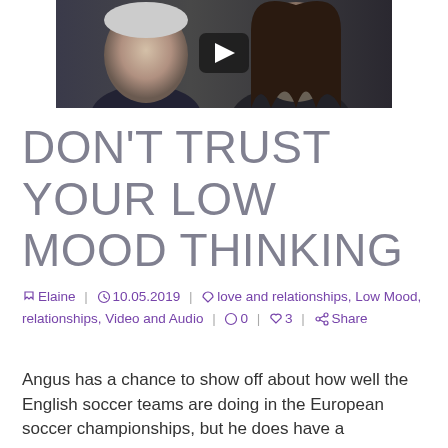[Figure (photo): Two people smiling facing the camera with a video play button overlay. Photo background with dark tones.]
DON'T TRUST YOUR LOW MOOD THINKING
✎ Elaine | ⏱ 10.05.2019 | ♡ love and relationships, Low Mood, relationships, Video and Audio | 💬 0 | ♡ 3 | Share
Angus has a chance to show off about how well the English soccer teams are doing in the European soccer championships, but he does have a